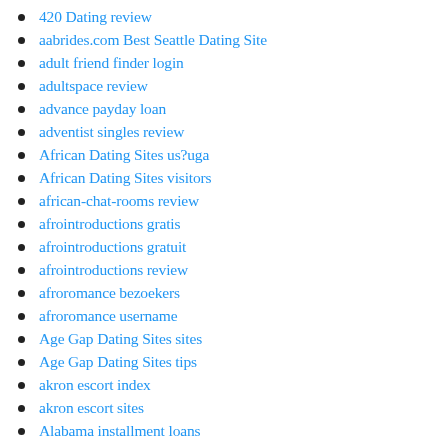420 Dating review
aabrides.com Best Seattle Dating Site
adult friend finder login
adultspace review
advance payday loan
adventist singles review
African Dating Sites us?uga
African Dating Sites visitors
african-chat-rooms review
afrointroductions gratis
afrointroductions gratuit
afrointroductions review
afroromance bezoekers
afroromance username
Age Gap Dating Sites sites
Age Gap Dating Sites tips
akron escort index
akron escort sites
Alabama installment loans